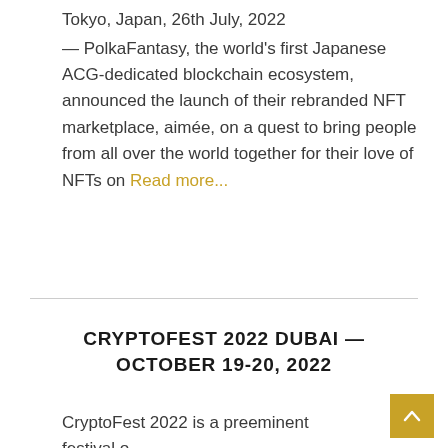Tokyo, Japan, 26th July, 2022 — PolkaFantasy, the world's first Japanese ACG-dedicated blockchain ecosystem, announced the launch of their rebranded NFT marketplace, aimée, on a quest to bring people from all over the world together for their love of NFTs on Read more...
CRYPTOFEST 2022 DUBAI — OCTOBER 19-20, 2022
CryptoFest 2022 is a preeminent festival o…